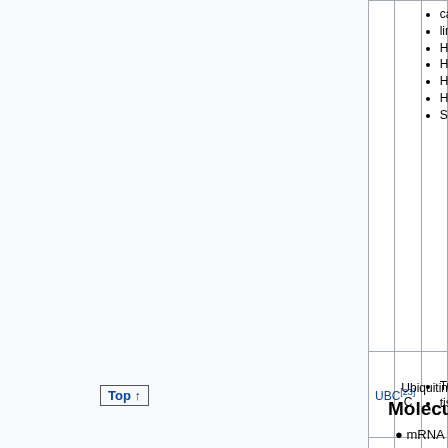| Gene | Full Name | Notes |
| --- | --- | --- |
|  |  | cancer lines: Hep3, HepG, HuH7, HEP-, SNU- |
| UBC[23] | Ubiquitin C | Tumor tissue |
| SDHA[23] | Succinate dehydrogenase complex, subunit A | Liver cancer lines: Hep3, HepG, HuH7, HEP-, SNU- |
Top ↑
Molecular Types
mRNA